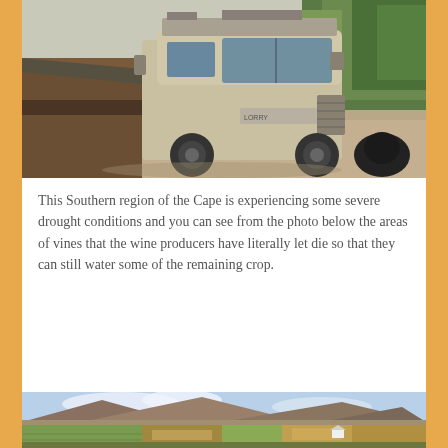[Figure (photo): A large truck (Lorry) parked near a wooden barn structure at a farm/winery, with green vineyard trees visible in the background. Taken from an elevated angle showing the truck cab and roof.]
This Southern region of the Cape is experiencing some severe drought conditions and you can see from the photo below the areas of vines that the wine producers have literally let die so that they can still water some of the remaining crop.
[Figure (photo): A wide landscape photo showing vineyard fields with patches of green and dry/dead areas, a large mountain range in the background under a partly cloudy sky, illustrating the drought conditions in the Southern Cape wine region.]